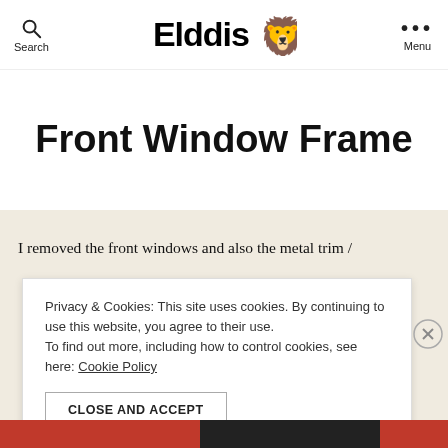Elddis — Search / Menu navigation bar
Front Window Frame
I removed the front windows and also the metal trim /
Privacy & Cookies: This site uses cookies. By continuing to use this website, you agree to their use. To find out more, including how to control cookies, see here: Cookie Policy

CLOSE AND ACCEPT